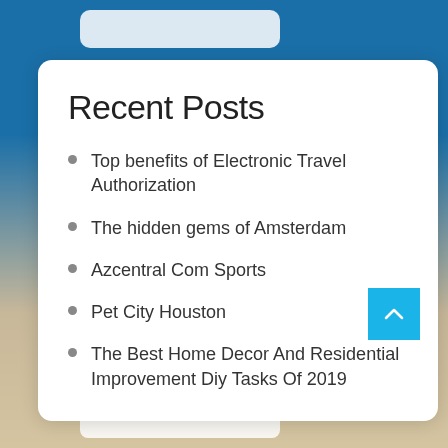Recent Posts
Top benefits of Electronic Travel Authorization
The hidden gems of Amsterdam
Azcentral Com Sports
Pet City Houston
The Best Home Decor And Residential Improvement Diy Tasks Of 2019